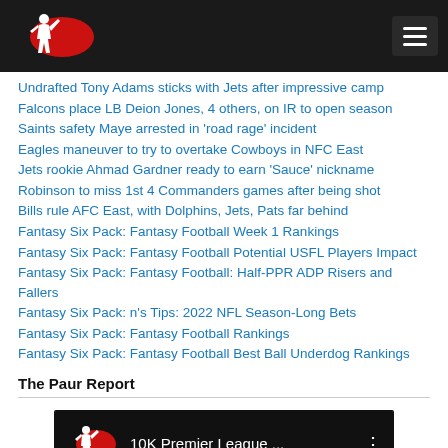[Figure (logo): Sports fantasy sports logo with basketball player silhouette and red oval on dark background, with hamburger menu icon top right]
Undrafted Tony Adams sticks with Jets after impressive camp
Falcons place LB Deion Jones, 4 others, on IR to open season
Saints safety Maye arrested in 'road rage' incident
Eagles maneuver to try to overtake Cowboys in NFC East
Jets rookie Ahmad Gardner ready to earn 'Sauce' nickname
Robinson to miss 1st 4 Commanders games after being shot
Bills rule AFC East, with Dolphins, Jets, Pats far behind
Fantasy Six Pack: Fantasy Football Week 1 Rankings
Fantasy Six Pack: Fantasy Football Potential USFL Players Impact
Fantasy Six Pack: Fantasy Football: Half-PPR ADP Risers and Fallers
Fantasy Six Pack: n's Tips: 2022 NFL Season-Long Bets
Fantasy Six Pack: Fantasy Football Rankings
Fantasy Six Pack: Fantasy Football Best Ball Underdog Rankings
The Paur Report
[Figure (screenshot): Video thumbnail showing sports fantasy logo and text '10K Premier League ...' with vertical dots menu on dark background]